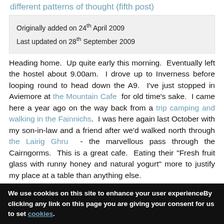different patterns of thought (fifth post)
Originally added on 24th April 2009
Last updated on 28th September 2009
Heading home. Up quite early this morning. Eventually left the hostel about 9.00am. I drove up to Inverness before looping round to head down the A9. I've just stopped in Aviemore at the Mountain Cafe for old time's sake. I came here a year ago on the way back from a trip camping and walking in the Fainnichs. I was here again last October with my son-in-law and a friend after we'd walked north through the Lairig Ghru - the marvellous pass through the Cairngorms. This is a great cafe. Eating their "Fresh fruit glass with runny honey and natural yogurt" more to justify my place at a table than anything else.
We use cookies on this site to enhance your user experienceBy clicking any link on this page you are giving your consent for us to set cookies.